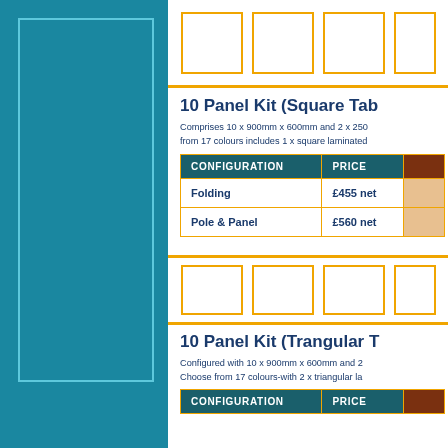[Figure (illustration): Blue left panel with inner rectangle outline]
[Figure (illustration): Top row of orange-bordered rectangular panel image placeholders]
10 Panel Kit (Square Tab...
Comprises 10 x 900mm x 600mm and 2 x 250... from 17 colours includes 1 x square laminated...
| CONFIGURATION | PRICE |  |
| --- | --- | --- |
| Folding | £455 net |  |
| Pole & Panel | £560 net |  |
[Figure (illustration): Mid row of orange-bordered rectangular panel image placeholders]
10 Panel Kit (Trangular T...
Configured with 10 x 900mm x 600mm and 2... Choose from 17 colours-with 2 x triangular la...
| CONFIGURATION | PRICE |  |
| --- | --- | --- |